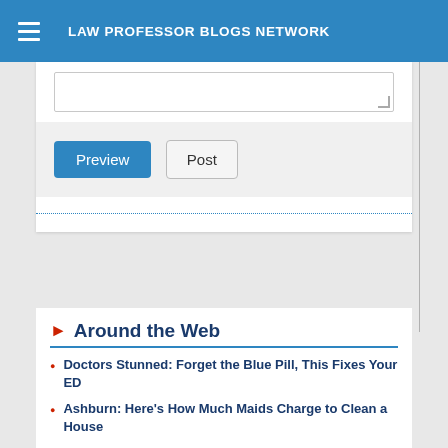LAW PROFESSOR BLOGS NETWORK
[Figure (screenshot): Text area input box for comment/post, partially visible at top]
[Figure (screenshot): Form buttons: Preview (blue) and Post (gray) on a light gray background]
Around the Web
Doctors Stunned: Forget the Blue Pill, This Fixes Your ED
Ashburn: Here's How Much Maids Charge to Clean a House
Clear Signs of Tardive Dyskinesia Most People May Not Realize